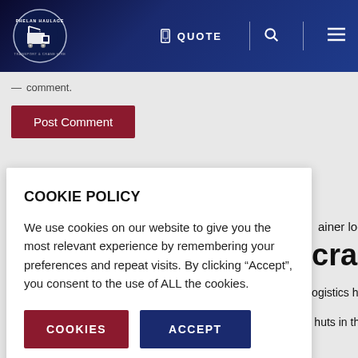[Figure (logo): Phelan Haulage Transport & Crane Hire circular logo with truck graphic on dark navy background, navigation bar with QUOTE, search, and menu icons]
comment.
Post Comment
TAG CLOUD
ainer logistics
crane hire
l logistics haulage
tub huts in the hills
COOKIE POLICY
We use cookies on our website to give you the most relevant experience by remembering your preferences and repeat visits. By clicking “Accept”, you consent to the use of ALL the cookies.
COOKIES   ACCEPT